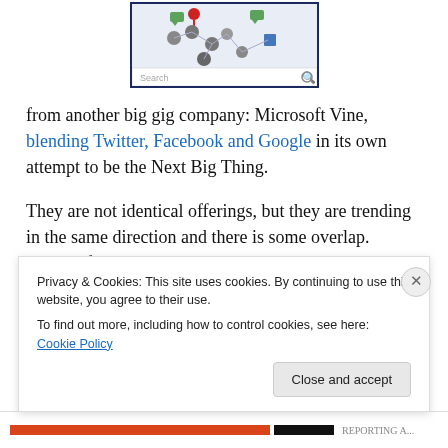[Figure (screenshot): Screenshot of a social network interface showing icons connected by lines, with a search bar at the bottom]
from another big gig company: Microsoft Vine, blending Twitter, Facebook and Google in its own  attempt to be the Next Big Thing.
They are not identical offerings, but they are trending in the same direction and there is some overlap.    Microsoft is taking a more traditional approach, looking at a
Privacy & Cookies: This site uses cookies. By continuing to use this website, you agree to their use.
To find out more, including how to control cookies, see here: Cookie Policy